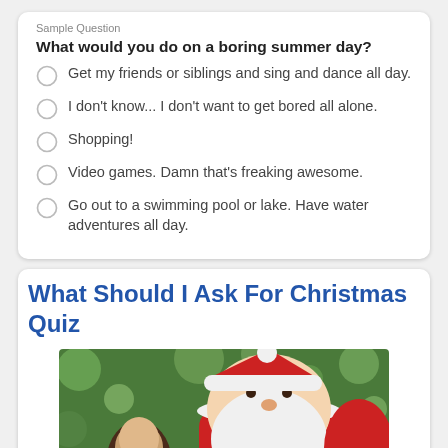Sample Question
What would you do on a boring summer day?
Get my friends or siblings and sing and dance all day.
I don't know... I don't want to get bored all alone.
Shopping!
Video games. Damn that's freaking awesome.
Go out to a swimming pool or lake. Have water adventures all day.
What Should I Ask For Christmas Quiz
[Figure (photo): Photo of Santa Claus in red suit with white beard leaning toward a young girl, with bokeh green tree lights in background.]